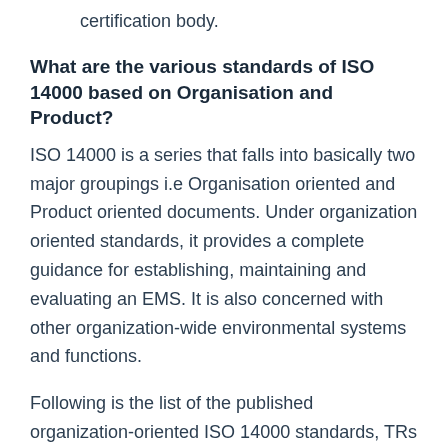certification body.
What are the various standards of ISO 14000 based on Organisation and Product?
ISO 14000 is a series that falls into basically two major groupings i.e Organisation oriented and Product oriented documents. Under organization oriented standards, it provides a complete guidance for establishing, maintaining and evaluating an EMS. It is also concerned with other organization-wide environmental systems and functions.
Following is the list of the published organization-oriented ISO 14000 standards, TRs and Guides: